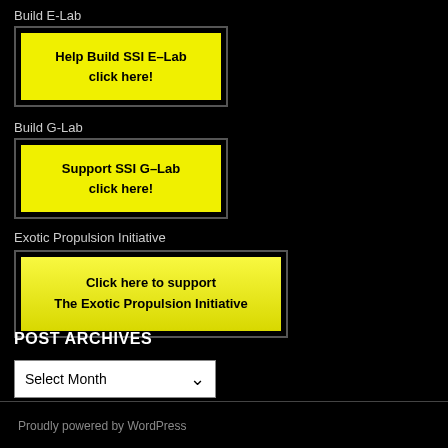Build E-Lab
[Figure (screenshot): Yellow button with black text: Help Build SSI E-Lab click here!]
Build G-Lab
[Figure (screenshot): Yellow button with black text: Support SSI G-Lab click here!]
Exotic Propulsion Initiative
[Figure (screenshot): Yellow button with black text: Click here to support The Exotic Propulsion Initiative]
POST ARCHIVES
Select Month
Proudly powered by WordPress